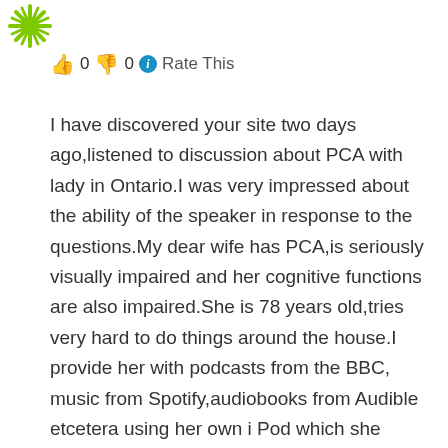[Figure (illustration): Green spiky snowflake/asterisk icon in top-left corner]
👍 0 👎 0 ℹ Rate This
I have discovered your site two days ago,listened to discussion about PCA with lady in Ontario.I was very impressed about the ability of the speaker in response to the questions.My dear wife has PCA,is seriously visually impaired and her cognitive functions are also impaired.She is 78 years old,tries very hard to do things around the house.I provide her with podcasts from the BBC, music from Spotify,audiobooks from Audible etcetera using her own i Pod which she cannot use independently.